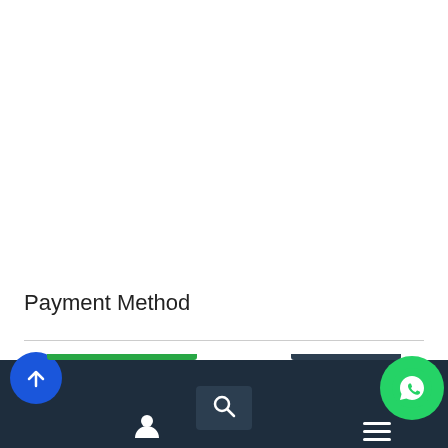Payment Method
1. If you wish to purchase the answer sheet through PayPal, Please